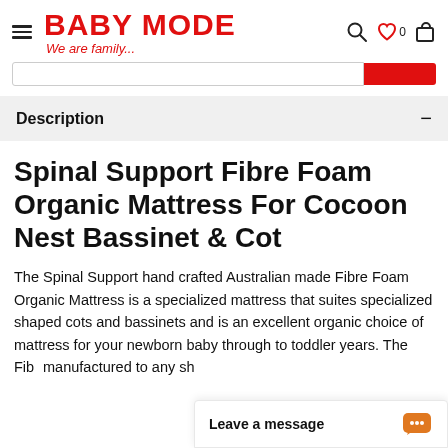BABY MODE — We are family...
Description
Spinal Support Fibre Foam Organic Mattress For Cocoon Nest Bassinet & Cot
The Spinal Support hand crafted Australian made Fibre Foam Organic Mattress is a specialized mattress that suites specialized shaped cots and bassinets and is an excellent organic choice of mattress for your newborn baby through to toddler years. The Fibre Foam mattress can be manufactured to any sh
Leave a message